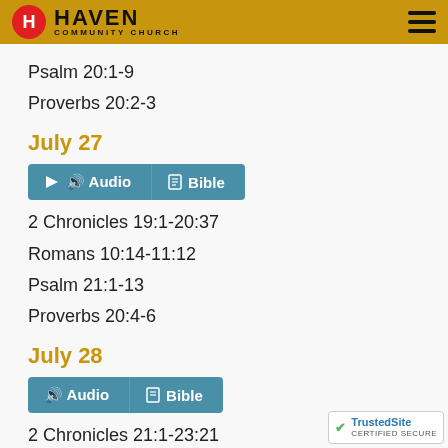Haven Community Church
Psalm 20:1-9
Proverbs 20:2-3
July 27
[Figure (other): Audio and Bible buttons for July 27]
2 Chronicles 19:1-20:37
Romans 10:14-11:12
Psalm 21:1-13
Proverbs 20:4-6
July 28
[Figure (other): Audio and Bible buttons for July 28]
2 Chronicles 21:1-23:21
Romans 11:13-36